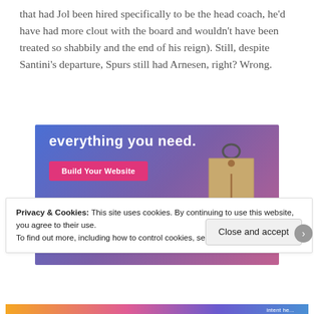that had Jol been hired specifically to be the head coach, he'd have had more clout with the board and wouldn't have been treated so shabbily and the end of his reign). Still, despite Santini's departure, Spurs still had Arnesen, right? Wrong.
[Figure (other): Advertisement banner with blue-to-purple gradient background, text 'everything you need.', pink 'Build Your Website' button, and a price tag illustration on the right side.]
Privacy & Cookies: This site uses cookies. By continuing to use this website, you agree to their use.
To find out more, including how to control cookies, see here: Cookie Policy